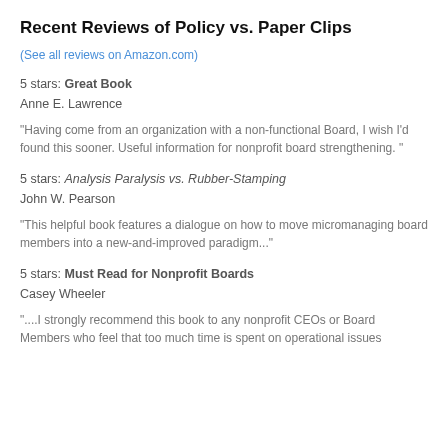Recent Reviews of Policy vs. Paper Clips
(See all reviews on Amazon.com)
5 stars: Great Book
Anne E. Lawrence
"Having come from an organization with a non-functional Board, I wish I'd found this sooner. Useful information for nonprofit board strengthening. "
5 stars: Analysis Paralysis vs. Rubber-Stamping
John W. Pearson
"This helpful book features a dialogue on how to move micromanaging board members into a new-and-improved paradigm..."
5 stars: Must Read for Nonprofit Boards
Casey Wheeler
"....I strongly recommend this book to any nonprofit CEOs or Board Members who feel that too much time is spent on operational issues